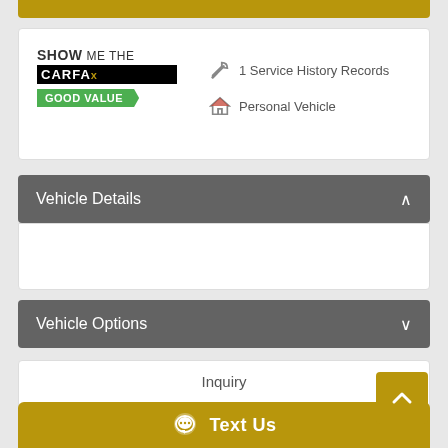[Figure (logo): CARFAX Show Me the CARFAX Good Value logo with wrench icon showing 1 Service History Records and house icon showing Personal Vehicle]
1 Service History Records
Personal Vehicle
Vehicle Details
Vehicle Options
Inquiry
First Name:
Text Us